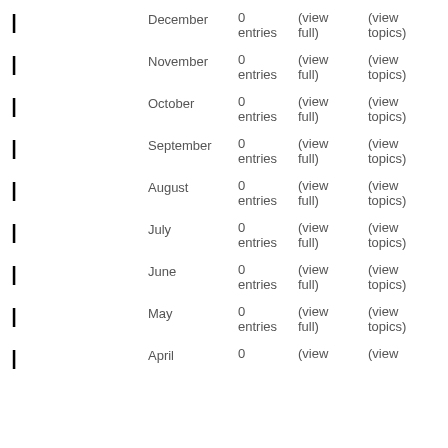| December 0 entries (view full) (view topics)
| November 0 entries (view full) (view topics)
| October 0 entries (view full) (view topics)
| September 0 entries (view full) (view topics)
| August 0 entries (view full) (view topics)
| July 0 entries (view full) (view topics)
| June 0 entries (view full) (view topics)
| May 0 entries (view full) (view topics)
| April 0 (view (view